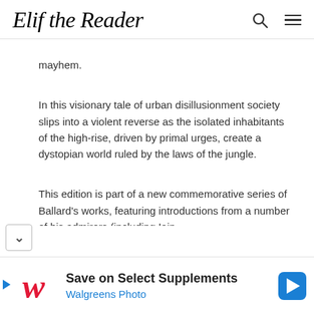Elif the Reader
mayhem.
In this visionary tale of urban disillusionment society slips into a violent reverse as the isolated inhabitants of the high-rise, driven by primal urges, create a dystopian world ruled by the laws of the jungle.
This edition is part of a new commemorative series of Ballard's works, featuring introductions from a number of his admirers (including Iain
[Figure (infographic): Advertisement bar: Walgreens logo (red cursive W), text 'Save on Select Supplements' and 'Walgreens Photo' in blue, blue diamond arrow icon on right.]